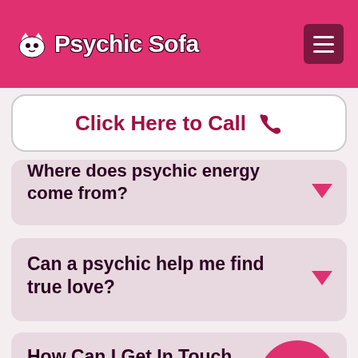Psychic Sofa
Click Here to Call
Where does psychic energy come from?
Can a psychic help me find true love?
How Can I Get In Touch With Your Psychics?